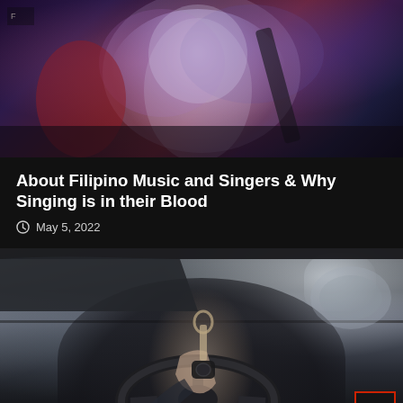[Figure (photo): Concert photo showing a performer with a large curly/feathered outfit playing guitar on stage, with dramatic purple, red, and blue stage lighting]
About Filipino Music and Singers & Why Singing is in their Blood
May 5, 2022
[Figure (photo): Close-up photo of a person in a suit sitting in a car, holding a car key over the steering wheel, with car interior visible including door frame and side mirror]